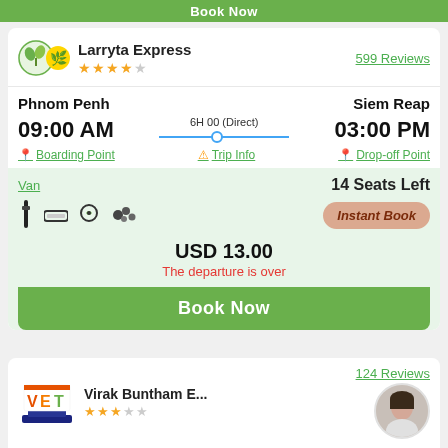Book Now
[Figure (logo): Larryta Express logo with leaf/plant icons]
Larryta Express
599 Reviews
Phnom Penh
Siem Reap
09:00 AM
6H 00 (Direct)
03:00 PM
Boarding Point
Trip Info
Drop-off Point
Van
14 Seats Left
Instant Book
USD 13.00
The departure is over
Book Now
[Figure (logo): Virak Buntham Express logo - VET orange/blue]
Virak Buntham E...
124 Reviews
Phnom Penh
Siem Reap